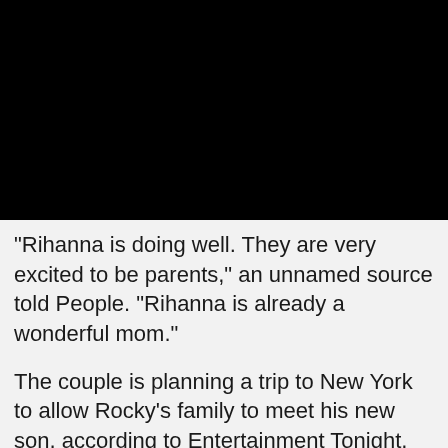[Figure (photo): Black rectangle representing a redacted or unavailable image/video frame]
"Rihanna is doing well. They are very excited to be parents," an unnamed source told People. "Rihanna is already a wonderful mom."
The couple is planning a trip to New York to allow Rocky's family to meet his new son, according to Entertainment Tonight, and